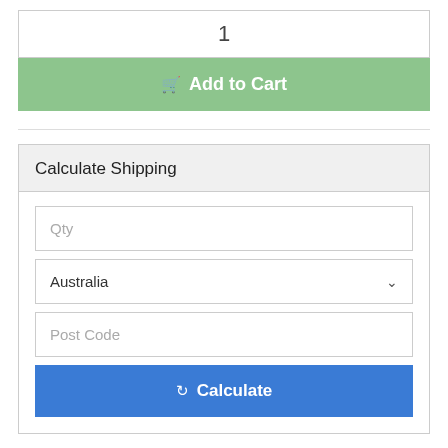1
Add to Cart
Calculate Shipping
Qty
Australia
Post Code
Calculate
More From This Category